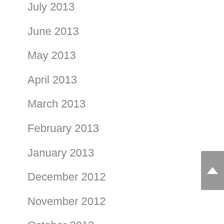July 2013
June 2013
May 2013
April 2013
March 2013
February 2013
January 2013
December 2012
November 2012
October 2012
September 2012
August 2012
July 2012